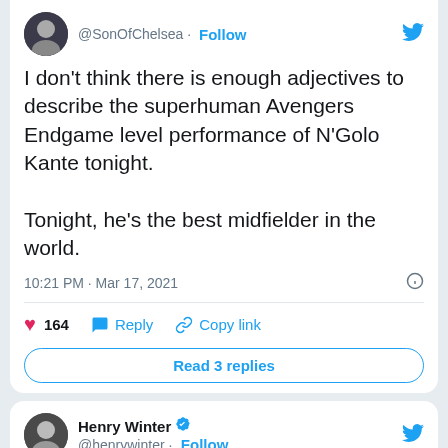[Figure (screenshot): Twitter/X tweet by @SonOfChelsea with avatar photo, handle, Follow link, tweet text about N'Golo Kante, timestamp, like count, reply, copy link actions, and Read 3 replies button]
I don't think there is enough adjectives to describe the superhuman Avengers Endgame level performance of N'Golo Kante tonight.

Tonight, he's the best midfielder in the world.
10:21 PM · Mar 17, 2021
164 Reply Copy link
Read 3 replies
[Figure (screenshot): Twitter/X tweet by Henry Winter @henrywinter with avatar, verified badge, Follow link, and partial tweet text beginning 'Difficult to pick a MOTM for #cfc there']
Henry Winter
@henrywinter · Follow
Difficult to pick a MOTM for #cfc there